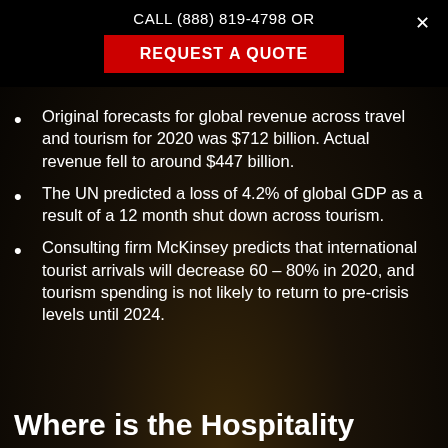CALL (888) 819-4798 OR REQUEST A QUOTE
Original forecasts for global revenue across travel and tourism for 2020 was $712 billion. Actual revenue fell to around $447 billion.
The UN predicted a loss of 4.2% of global GDP as a result of a 12 month shut down across tourism.
Consulting firm McKinsey predicts that international tourist arrivals will decrease 60 – 80% in 2020, and tourism spending is not likely to return to pre-crisis levels until 2024.
Where is the Hospitality